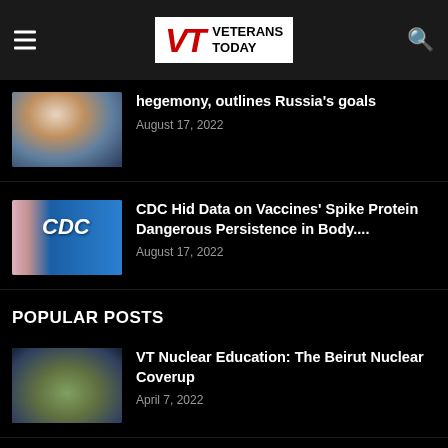VT VETERANS TODAY
hegemony, outlines Russia's goals
August 17, 2022
[Figure (photo): Man in suit sitting at desk with Russian flags in background]
CDC Hid Data on Vaccines' Spike Protein Dangerous Persistence in Body....
August 17, 2022
[Figure (photo): Woman in front of blue CDC sign]
POPULAR POSTS
VT Nuclear Education: The Beirut Nuclear Coverup
April 7, 2022
[Figure (photo): Aerial illustration of Beirut city]
The Hidden History of the Incredibly Evil Khazarian Mafia
March 10, 2022
[Figure (photo): Illustration of medieval figures in robes]